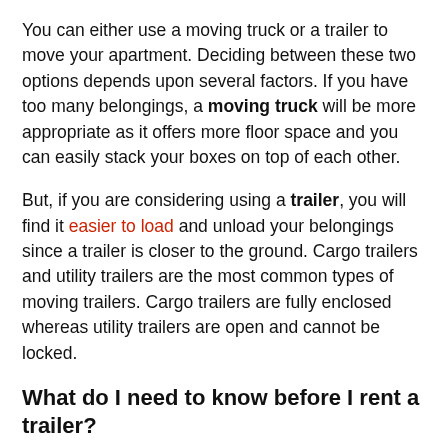You can either use a moving truck or a trailer to move your apartment. Deciding between these two options depends upon several factors. If you have too many belongings, a moving truck will be more appropriate as it offers more floor space and you can easily stack your boxes on top of each other.
But, if you are considering using a trailer, you will find it easier to load and unload your belongings since a trailer is closer to the ground. Cargo trailers and utility trailers are the most common types of moving trailers. Cargo trailers are fully enclosed whereas utility trailers are open and cannot be locked.
What do I need to know before I rent a trailer?
Most important thing that you need to know is that there are different types of moving trailers. The...